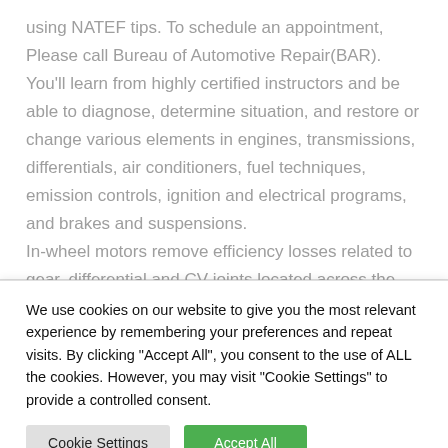using NATEF tips. To schedule an appointment, Please call Bureau of Automotive Repair(BAR). You'll learn from highly certified instructors and be able to diagnose, determine situation, and restore or change various elements in engines, transmissions, differentials, air conditioners, fuel techniques, emission controls, ignition and electrical programs, and brakes and suspensions.

In-wheel motors remove efficiency losses related to gear, differential and CV joints located across the vehicle. Take a
We use cookies on our website to give you the most relevant experience by remembering your preferences and repeat visits. By clicking "Accept All", you consent to the use of ALL the cookies. However, you may visit "Cookie Settings" to provide a controlled consent.